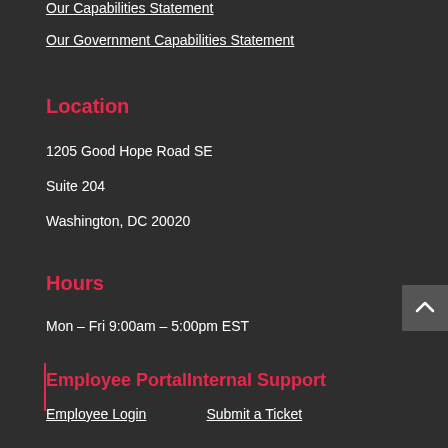Our Capabilities Statement
Our Government Capabilities Statement
Location
1205 Good Hope Road SE
Suite 204
Washington, DC 20020
Hours
Mon – Fri 9:00am – 5:00pm EST
Employee PortalInternal Support
Employee Login
Submit a Ticket